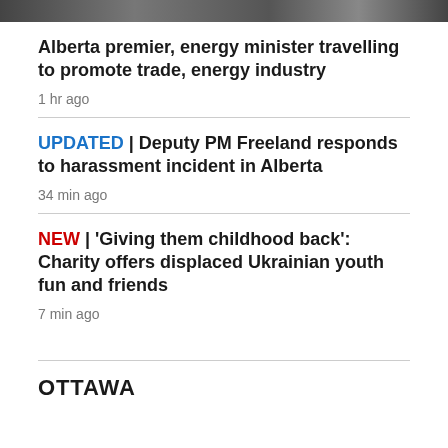[Figure (photo): Dark horizontal image strip at top of page]
Alberta premier, energy minister travelling to promote trade, energy industry
1 hr ago
UPDATED | Deputy PM Freeland responds to harassment incident in Alberta
34 min ago
NEW | ‘Giving them childhood back’: Charity offers displaced Ukrainian youth fun and friends
7 min ago
OTTAWA